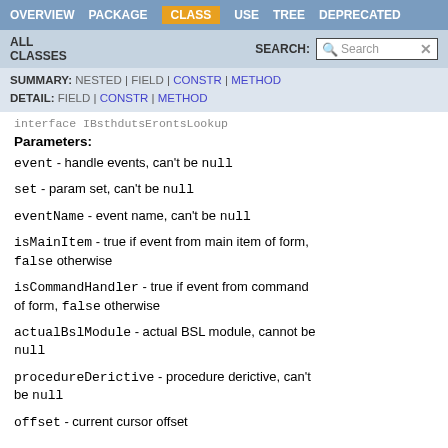OVERVIEW  PACKAGE  CLASS  USE  TREE  DEPRECATED
ALL CLASSES   SEARCH:  [Search]
SUMMARY: NESTED | FIELD | CONSTR | METHOD
DETAIL: FIELD | CONSTR | METHOD
interface IBsthdutsErontsLookup
Parameters:
event - handle events, can't be null
set - param set, can't be null
eventName - event name, can't be null
isMainItem - true if event from main item of form, false otherwise
isCommandHandler - true if event from command of form, false otherwise
actualBslModule - actual BSL module, cannot be null
procedureDerictive - procedure derictive, can't be null
offset - current cursor offset